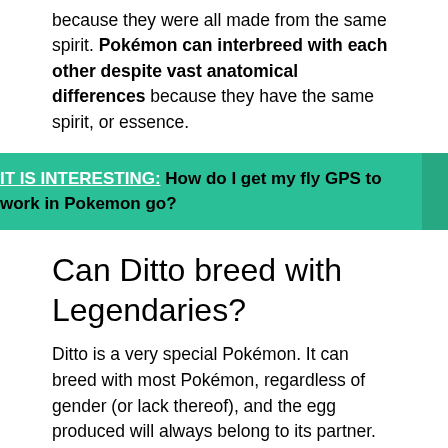because they were all made from the same spirit. Pokémon can interbreed with each other despite vast anatomical differences because they have the same spirit, or essence.
IT IS INTERESTING: How do I get my fly GPS to work in Pokemon go?
Can Ditto breed with Legendaries?
Ditto is a very special Pokémon. It can breed with most Pokémon, regardless of gender (or lack thereof), and the egg produced will always belong to its partner. Ditto is also the only Pokémon that can breed with a